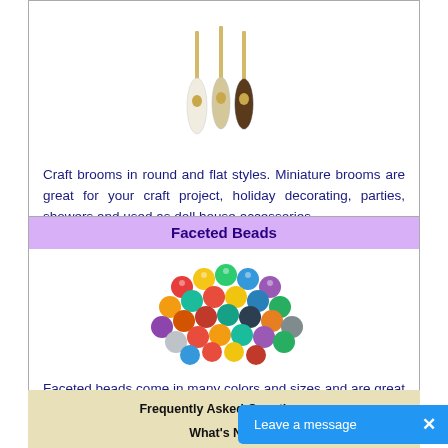[Figure (photo): Three miniature craft brooms with bamboo handles and white, tan, and dark brown bristles]
Craft brooms in round and flat styles. Miniature brooms are great for your craft project, holiday decorating, parties, showers and used as doll house accessories.
Faceted Beads
[Figure (photo): Colorful faceted beads in many colors including red, blue, green, yellow, purple, orange, and white arranged in a pile]
Faceted beads come in many colors and sizes and are great for all types of craft and jewelry projects.
Frequently Asked Questions
What's New
Contact Us
Shipping R...
Print an Orde...